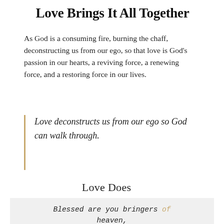Love Brings It All Together
As God is a consuming fire, burning the chaff, deconstructing us from our ego, so that love is God's passion in our hearts, a reviving force, a renewing force, and a restoring force in our lives.
Love deconstructs us from our ego so God can walk through.
Love Does
Blessed are you bringers of heaven,
You peacemakers
Christ-bears